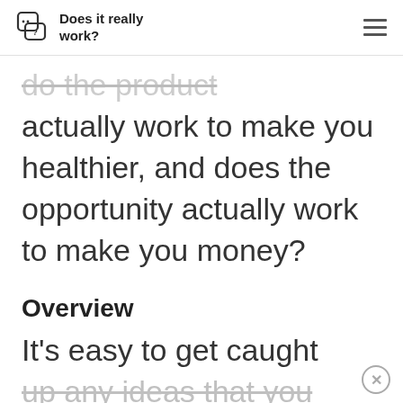Does it really work?
do the product actually work to make you healthier, and does the opportunity actually work to make you money?
Overview
It's easy to get caught up any ideas that you could find a health